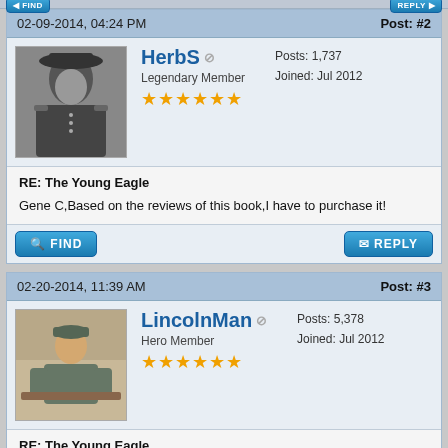02-09-2014, 04:24 PM | Post: #2
[Figure (photo): Black and white portrait photo of a man in a wide-brimmed hat and military uniform]
HerbS — Legendary Member — Posts: 1,737 — Joined: Jul 2012
RE: The Young Eagle
Gene C,Based on the reviews of this book,I have to purchase it!
02-20-2014, 11:39 AM | Post: #3
[Figure (photo): Color photo of a man sitting at a table]
LincolnMan — Hero Member — Posts: 5,378 — Joined: Jul 2012
RE: The Young Eagle
Gene: not having read the book- nor knowing anything about it until you mentioned it- why is it entitled 'The Young Eagle?'
Bill Nash